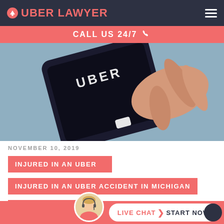UBER LAWYER
CALL US 24/7
[Figure (photo): A hand holding a smartphone displaying the Uber app logo on a dark background]
NOVEMBER 10, 2019
INJURED IN AN UBER
INJURED IN AN UBER ACCIDENT IN MICHIGAN
UBER [ACCIDENT]
LIVE CHAT  START NOW